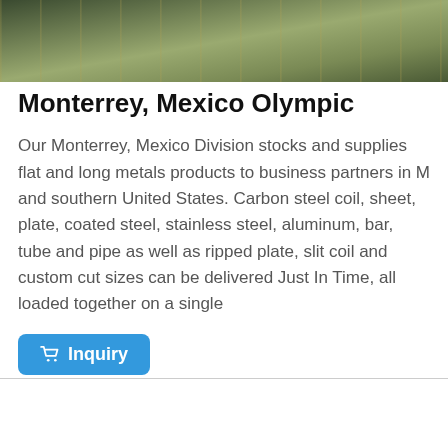[Figure (photo): Top portion of industrial metal products photo, showing metal coils or sheets with green/yellow tones]
Monterrey, Mexico Olympic
Our Monterrey, Mexico Division stocks and supplies flat and long metals products to business partners in M and southern United States. Carbon steel coil, sheet, plate, coated steel, stainless steel, aluminum, bar, tube and pipe as well as ripped plate, slit coil and custom cut sizes can be delivered Just In Time, all loaded together on a single
[Figure (other): Orange inquiry badge/tooltip overlay in upper right area]
Inquiry (button)
[Figure (photo): Bottom photo showing wrapped/packaged flat metal sheets or aluminum with plastic wrapping]